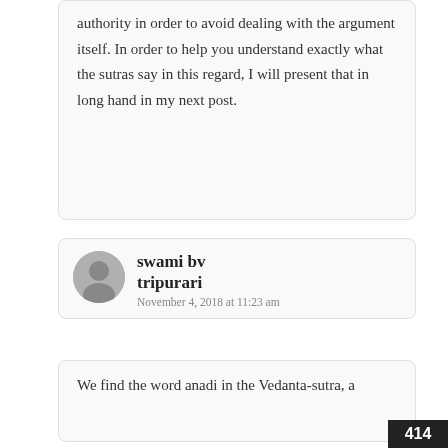authority in order to avoid dealing with the argument itself. In order to help you understand exactly what the sutras say in this regard, I will present that in long hand in my next post.
swami bv tripurari
November 4, 2018 at 11:23 am
We find the word anadi in the Vedanta-sutra, a
414